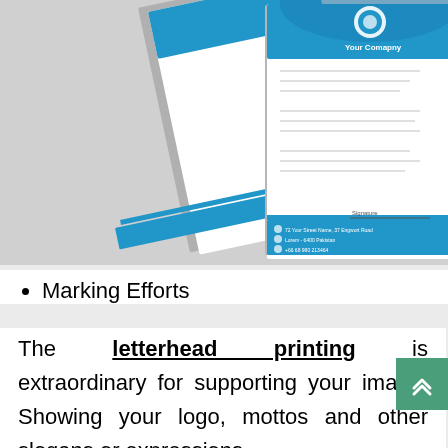[Figure (illustration): Two letterhead documents with blue header and footer design, showing 'Your Company' logo. Documents are displayed at an angle on a grey background.]
Marking Efforts
The letterhead printing is extraordinary for supporting your image. Showing your logo, mottos and other slogans or expressions